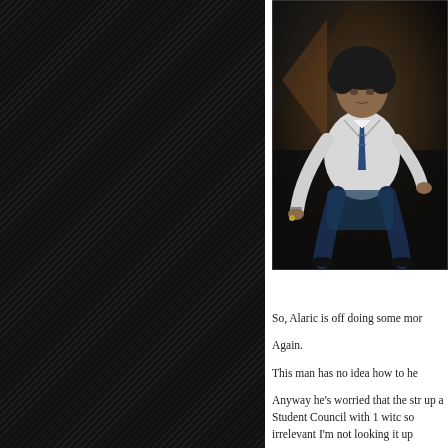[Figure (photo): A young man in a school uniform (white blazer, striped tie) crouching or leaning forward, photographed in a dark, dramatic setting.]
So, Alaric is off doing some mor
Again.
This man has no idea how to he
Anyway he's worried that the str up a Student Council with 1 witc so irrelevant I'm not looking it up